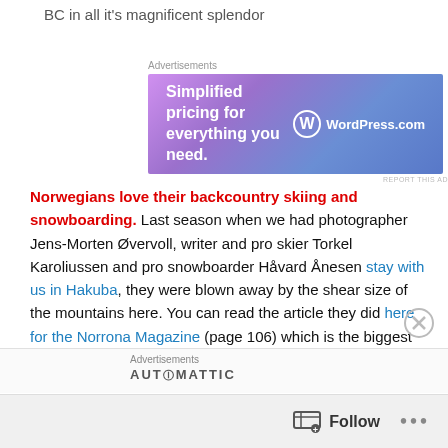BC in all it's magnificent splendor
[Figure (screenshot): WordPress.com advertisement banner with purple-blue gradient background. Text reads: 'Simplified pricing for everything you need.' with WordPress.com logo on the right.]
Norwegians love their backcountry skiing and snowboarding. Last season when we had photographer Jens-Morten Øvervoll, writer and pro skier Torkel Karoliussen and pro snowboarder Håvard Ånesen stay with us in Hakuba, they were blown away by the shear size of the mountains here. You can read the article they did here for the Norrona Magazine (page 106) which is the biggest outdoor adventure magazine in Scandinavia. The photography is magnificent. Jens who has 20 years
[Figure (screenshot): Automattic advertisement banner at bottom of page]
Follow ...